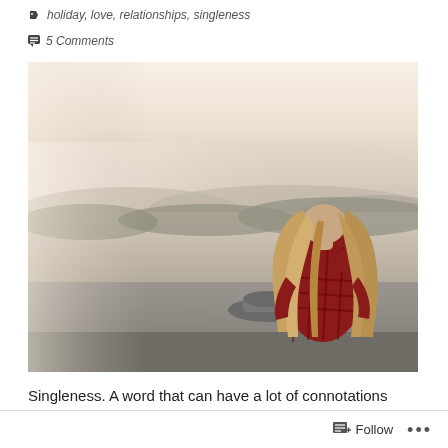holiday, love, relationships, singleness
5 Comments
[Figure (photo): Woman with long wavy hair wearing a red plaid shirt, sitting on a rocky ledge with a hat beside her, looking out over a vast landscape with rolling hills and hazy sky.]
Singleness. A word that can have a lot of connotations associated with it–both positive and negative.
Follow ...